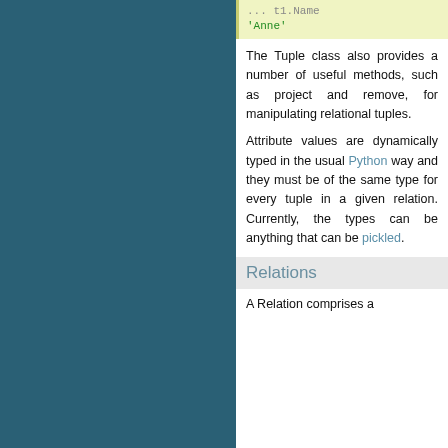[Figure (screenshot): Code snippet showing Python output: '...  t1.Name' and "'Anne'" on a light yellow-green background]
The Tuple class also provides a number of useful methods, such as project and remove, for manipulating relational tuples.
Attribute values are dynamically typed in the usual Python way and they must be of the same type for every tuple in a given relation. Currently, the types can be anything that can be pickled.
Relations
A Relation comprises a